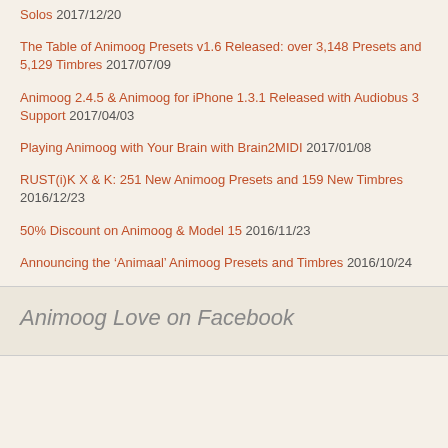Solos 2017/12/20
The Table of Animoog Presets v1.6 Released: over 3,148 Presets and 5,129 Timbres 2017/07/09
Animoog 2.4.5 & Animoog for iPhone 1.3.1 Released with Audiobus 3 Support 2017/04/03
Playing Animoog with Your Brain with Brain2MIDI 2017/01/08
RUST(i)K X & K: 251 New Animoog Presets and 159 New Timbres 2016/12/23
50% Discount on Animoog & Model 15 2016/11/23
Announcing the ‘Animaal’ Animoog Presets and Timbres 2016/10/24
Animoog Love on Facebook